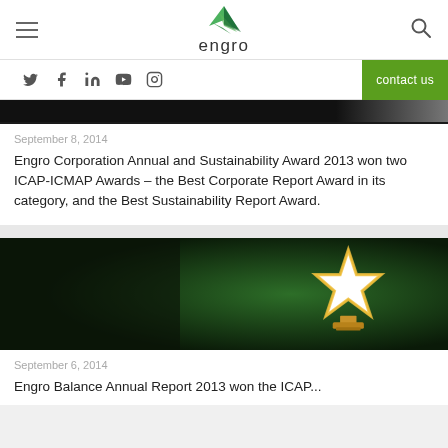Engro — navigation header with hamburger menu, Engro logo, and search icon
Social icons: Twitter, Facebook, LinkedIn, YouTube, Instagram | contact us
[Figure (photo): Partial dark image at top of card — appears to be a cropped news/article image]
September 8, 2014
Engro Corporation Annual and Sustainability Award 2013 won two ICAP-ICMAP Awards – the Best Corporate Report Award in its category, and the Best Sustainability Report Award.
[Figure (photo): Photo of a gold star-shaped award trophy on a green background]
September 6, 2014
Engro Balance Annual Report 2013 won the ICAP...